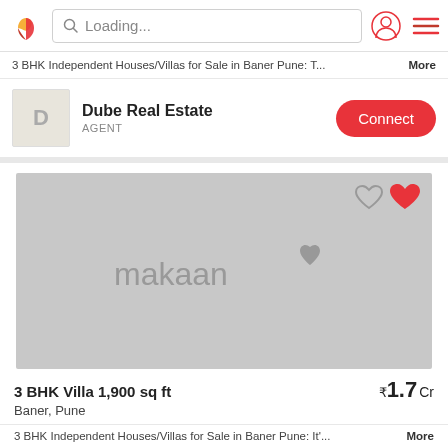Loading...
3 BHK Independent Houses/Villas for Sale in Baner Pune: T... More
Dube Real Estate
AGENT
Connect
[Figure (screenshot): Gray placeholder image with makaan watermark and heart icons]
3 BHK Villa 1,900 sq ft
Baner, Pune
₹1.7 Cr
3 BHK Independent Houses/Villas for Sale in Baner Pune: It'... More